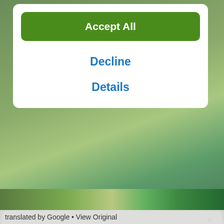[Figure (screenshot): Green landscape background visible behind dialog cards]
Accept All
Decline
Details
Get komoot, stay on track—however wild you go
With turn-by-turn voice navigation and offline maps, the komoot app will always keep your adventure on track, even when the internet's down or unreliable.
[Figure (logo): Download on the App Store button with Apple logo on black rounded rectangle background]
translated by Google • View Original